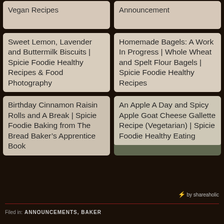Vegan Recipes
Announcement
Sweet Lemon, Lavender and Buttermilk Biscuits | Spicie Foodie Healthy Recipes & Food Photography
Homemade Bagels: A Work In Progress | Whole Wheat and Spelt Flour Bagels | Spicie Foodie Healthy Recipes
Birthday Cinnamon Raisin Rolls and A Break | Spicie Foodie Baking from The Bread Baker’s Apprentice Book
An Apple A Day and Spicy Apple Goat Cheese Gallette Recipe (Vegetarian) | Spicie Foodie Healthy Eating
by shareaholic
ANNOUNCEMENTS, BAKER